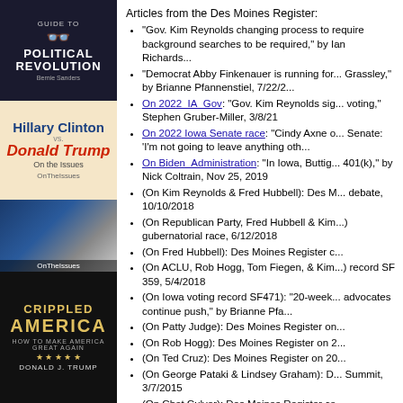[Figure (illustration): Left column with book covers and political photos: Guide to Political Revolution book cover, Hillary Clinton vs. Donald Trump On the Issues book cover, photo of Hillary Clinton and Donald Trump at debate, Crippled America by Donald J. Trump book cover, black and white photo of Hillary Clinton]
Articles from the Des Moines Register:
"Gov. Kim Reynolds changing process to require background searches to be required," by Ian Richards...
"Democrat Abby Finkenauer is running for... Grassley," by Brianne Pfannenstiel, 7/22/2...
On 2022_IA_Gov: "Gov. Kim Reynolds sig... voting," Stephen Gruber-Miller, 3/8/21
On 2022 Iowa Senate race: "Cindy Axne c... Senate: 'I'm not going to leave anything oth...
On Biden_Administration: "In Iowa, Buttig... 401(k)," by Nick Coltrain, Nov 25, 2019
(On Kim Reynolds & Fred Hubbell): Des M... debate, 10/10/2018
(On Republican Party, Fred Hubbell & Kim...) gubernatorial race, 6/12/2018
(On Fred Hubbell): Des Moines Register c...
(On ACLU, Rob Hogg, Tom Fiegen, & Kim...) record SF 359, 5/4/2018
(On Iowa voting record SF471): "20-week... advocates continue push," by Brianne Pfa...
(On Patty Judge): Des Moines Register on...
(On Rob Hogg): Des Moines Register on 2...
(On Ted Cruz): Des Moines Register on 20...
(On George Pataki & Lindsey Graham): D... Summit, 3/7/2015
(On Chet Culver): Des Moines Register co...
(On Bruce Braley): Des Moines Register c...
(On Joni Ernst): Des Moines Register on 2...
(On Jack Hatch): Des Moines Register on...
(On Terry Branstad): Des Moines Register...
(On Nicholas Branstad)...